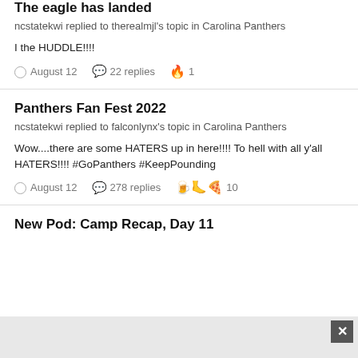The eagle has landed
ncstatekwi replied to therealmjl's topic in Carolina Panthers
I the HUDDLE!!!!
August 12   22 replies   🔥 1
Panthers Fan Fest 2022
ncstatekwi replied to falconlynx's topic in Carolina Panthers
Wow....there are some HATERS up in here!!!! To hell with all y'all HATERS!!!! #GoPanthers #KeepPounding
August 12   278 replies   🍺🦶🍕 10
New Pod: Camp Recap, Day 11